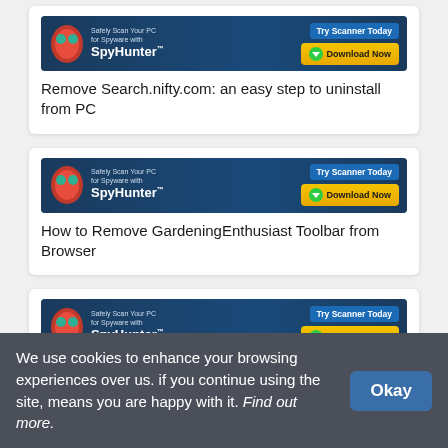[Figure (screenshot): SpyHunter scanner advertisement banner]
Remove Search.nifty.com: an easy step to uninstall from PC
[Figure (screenshot): SpyHunter scanner advertisement banner]
How to Remove GardeningEnthusiast Toolbar from Browser
[Figure (screenshot): SpyHunter scanner advertisement banner]
Delete KingMiner Trojan from the system
[Figure (screenshot): SpyHunter scanner advertisement banner (partially visible)]
We use cookies to enhance your browsing experiences over us. if you continue using the site, means you are happy with it. Find out more.